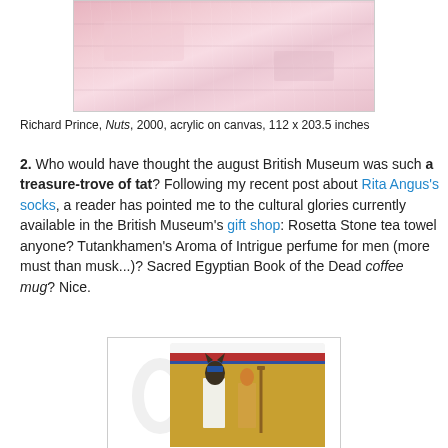[Figure (photo): Cropped bottom portion of Richard Prince painting Nuts, 2000, showing pale pink/rose textured acrylic on canvas]
Richard Prince, Nuts, 2000, acrylic on canvas, 112 x 203.5 inches
2. Who would have thought the august British Museum was such a treasure-trove of tat? Following my recent post about Rita Angus's socks, a reader has pointed me to the cultural glories currently available in the British Museum's gift shop: Rosetta Stone tea towel anyone? Tutankhamen's Aroma of Intrigue perfume for men (more must than musk...)? Sacred Egyptian Book of the Dead coffee mug? Nice.
[Figure (photo): A white ceramic coffee mug with Egyptian Book of the Dead imagery printed on it, showing an Anubis-like figure in gold and brown tones with red and blue decorative bands near the top]